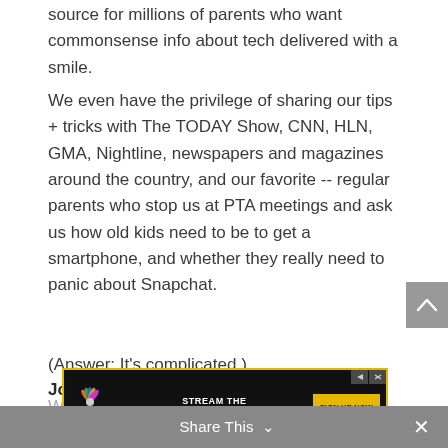source for millions of parents who want commonsense info about tech delivered with a smile.
We even have the privilege of sharing our tips + tricks with The TODAY Show, CNN, HLN, GMA, Nightline, newspapers and magazines around the country, and our favorite -- regular parents who stop us at PTA meetings and ask us how old kids need to be to get a smartphone, and whether they really need to panic about Snapchat.
(Answer: It's complicated.)
We... in he...
[Figure (screenshot): Peacock streaming advertisement banner: black background with yellow border, peacock logo on left, 'STREAM THE LATEST EPISODE' text in center, 'SIGN UP NOW' yellow button on right]
Share This
Join the most helpful community for tech-